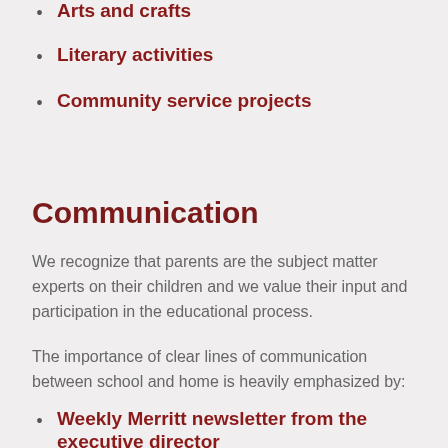Arts and crafts
Literary activities
Community service projects
Communication
We recognize that parents are the subject matter experts on their children and we value their input and participation in the educational process.
The importance of clear lines of communication between school and home is heavily emphasized by:
Weekly Merritt newsletter from the executive director